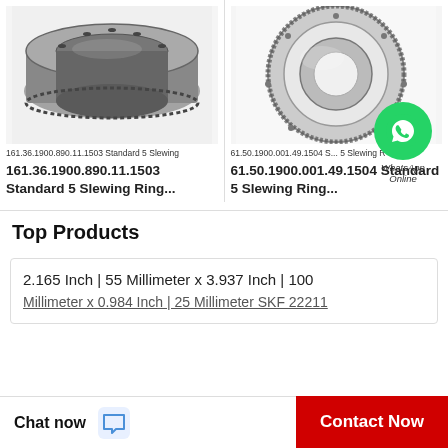[Figure (photo): Large cylindrical slewing ring bearing with gear teeth and bolt holes, metallic silver/dark finish, viewed at an angle from above]
161.36.1900.890.11.1503 Standard 5 Slewing
161.36.1900.890.11.1503
Standard 5 Slewing Ring...
[Figure (photo): Thin flat slewing ring bearing with gear teeth around outer rim, viewed from above, white background]
61.50.1900.001.49.1504 S...5 Slewing R
61.50.1900.001.49.1504
Standard 5 Slewing Ring...
[Figure (other): WhatsApp Online green circle chat button with phone icon, with text 'WhatsApp Online']
Top Products
2.165 Inch | 55 Millimeter x 3.937 Inch | 100 Millimeter x 0.984 Inch | 25 Millimeter SKF 22211
Chat now
Contact Now